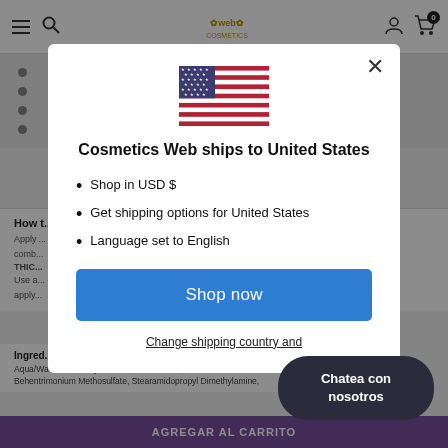Cosmetics Web navigation bar with hamburger menu, search icon, logo, user icon, cart icon (0)
[Figure (screenshot): Background page with bullet points list and product instructions text partially obscured by modal overlay]
[Figure (infographic): Modal popup: US flag image, title 'Cosmetics Web ships to United States', bullet list with Shop in USD $, Get shipping options for United States, Language set to English, Shop now button, Change shipping country and link]
Cosmetics Web ships to United States
Shop in USD $
Get shipping options for United States
Language set to English
Shop now
Change shipping country and
Chatea con nosotros
How t...
Apply...
Ingredients
Aqua/Water/Eau, Cetyl Alcohol, Dimethicone, Behentrimonium Methosulfate, Stearamidopropyl Dimethylamine,